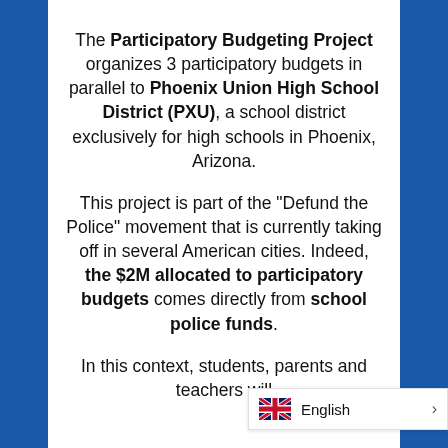The Participatory Budgeting Project organizes 3 participatory budgets in parallel to Phoenix Union High School District (PXU), a school district exclusively for high schools in Phoenix, Arizona.
This project is part of the "Defund the Police" movement that is currently taking off in several American cities. Indeed, the $2M allocated to participatory budgets comes directly from school police funds.
In this context, students, parents and teachers will